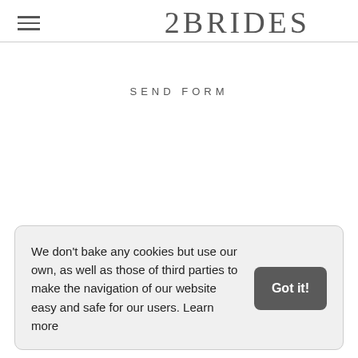2BRIDES
SEND FORM
We don't bake any cookies but use our own, as well as those of third parties to make the navigation of our website easy and safe for our users. Learn more